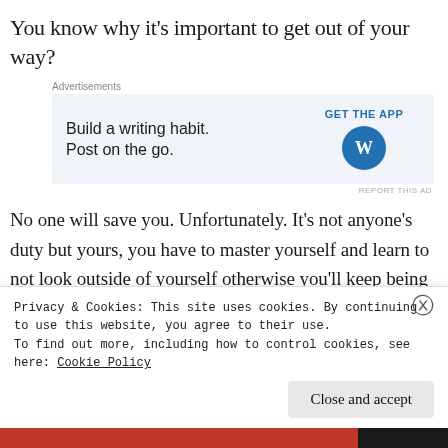You know why it’s important to get out of your way?
[Figure (other): WordPress advertisement banner: 'Build a writing habit. Post on the go.' with GET THE APP call to action and WordPress logo]
No one will save you. Unfortunately. It’s not anyone’s duty but yours, you have to master yourself and learn to not look outside of yourself otherwise you’ll keep being disappointed or worse distracted. Remember, tomorrow never comes plus everyone and everything is a distraction. You come first. Your priority is YOU. Yes YOU!. Your
Privacy & Cookies: This site uses cookies. By continuing to use this website, you agree to their use.
To find out more, including how to control cookies, see here: Cookie Policy
Close and accept